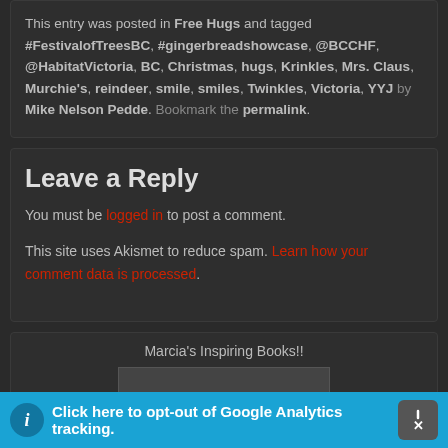This entry was posted in Free Hugs and tagged #FestivalofTreesBC, #gingerbreadshowcase, @BCCHF, @HabitatVictoria, BC, Christmas, hugs, Krinkles, Mrs. Claus, Murchie's, reindeer, smile, smiles, Twinkles, Victoria, YYJ by Mike Nelson Pedde. Bookmark the permalink.
Leave a Reply
You must be logged in to post a comment.
This site uses Akismet to reduce spam. Learn how your comment data is processed.
Marcia's Inspiring Books!!
Click here to opt-out of Google Analytics tracking.